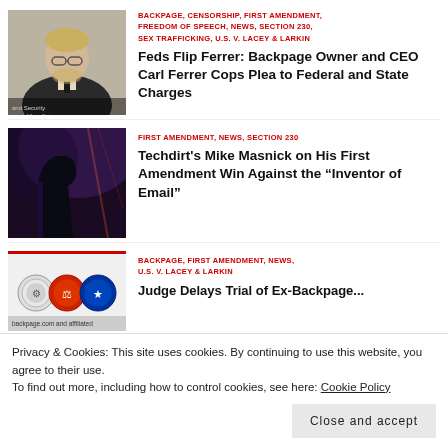[Figure (photo): Man with glasses and beard at hearing, dark suit and tie, official setting]
BACKPAGE, CENSORSHIP, FIRST AMENDMENT, FREEDOM OF SPEECH, NEWS, SECTION 230, SEX TRAFFICKING, U.S. V. LACEY & LARKIN
Feds Flip Ferrer: Backpage Owner and CEO Carl Ferrer Cops Plea to Federal and State Charges
[Figure (photo): Man silhouette against dark purple/blue stage lighting]
FIRST AMENDMENT, NEWS, SECTION 230
Techdirt's Mike Masnick on His First Amendment Win Against the “Inventor of Email”
[Figure (photo): Backpage.com logos with government seal badges, text reads backpage.com and affiliated]
BACKPAGE, FIRST AMENDMENT, NEWS, U.S. V. LACEY & LARKIN
Judge Delays Trial of Ex-Backpage...
Privacy & Cookies: This site uses cookies. By continuing to use this website, you agree to their use.
To find out more, including how to control cookies, see here: Cookie Policy
Close and accept